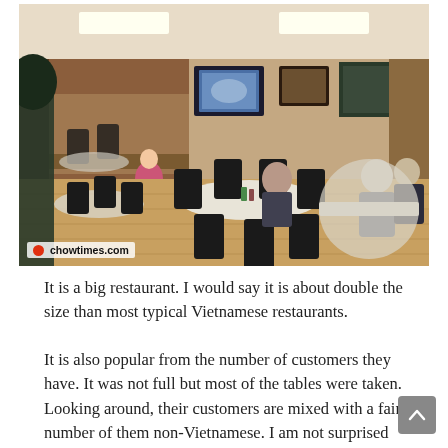[Figure (photo): Interior of a Vietnamese restaurant with dark wooden chairs, round tables, wooden paneling on walls, TV screen visible, a woman in pink near the counter, two older customers seated at a table in the background right, and a watermark 'chowtimes.com' in the bottom-left corner of the photo.]
It is a big restaurant. I would say it is about double the size than most typical Vietnamese restaurants.
It is also popular from the number of customers they have. It was not full but most of the tables were taken. Looking around, their customers are mixed with a fair number of them non-Vietnamese. I am not surprised because Bao Chau is a well known restaurant who had established itself